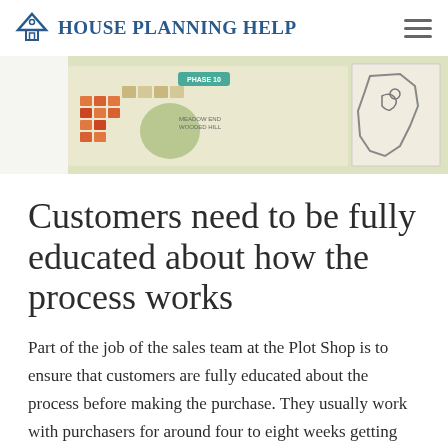House Planning Help
[Figure (illustration): A site plan map showing a housing development with colourful plots, labels including 'PHASE 10', 'MEADOW END', 'WOODED HILL', and an inset map outline on the right side.]
Customers need to be fully educated about how the process works
Part of the job of the sales team at the Plot Shop is to ensure that customers are fully educated about the process before making the purchase. They usually work with purchasers for around four to eight weeks getting them ready to be able to buy a Golden Brick